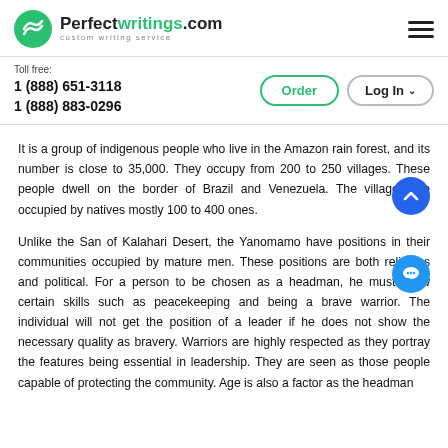Perfectwritings.com — custom writing service
Toll free:
1 (888) 651-3118
1 (888) 883-0296
It is a group of indigenous people who live in the Amazon rain forest, and its number is close to 35,000. They occupy from 200 to 250 villages. These people dwell on the border of Brazil and Venezuela. The villages are occupied by natives mostly 100 to 400 ones.
Unlike the San of Kalahari Desert, the Yanomamo have positions in their communities occupied by mature men. These positions are both religious and political. For a person to be chosen as a headman, he must show certain skills such as peacekeeping and being a brave warrior. The individual will not get the position of a leader if he does not show the necessary quality as bravery. Warriors are highly respected as they portray the features being essential in leadership. They are seen as those people capable of protecting the community. Age is also a factor as the headman